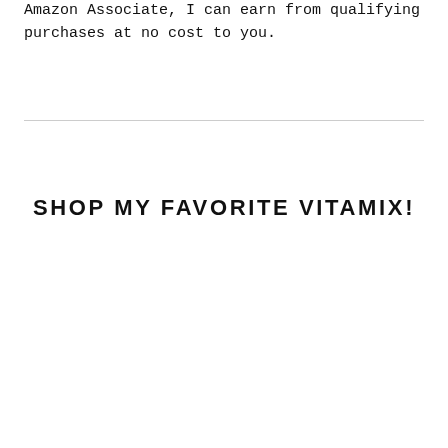Amazon Associate, I can earn from qualifying purchases at no cost to you.
SHOP MY FAVORITE VITAMIX!